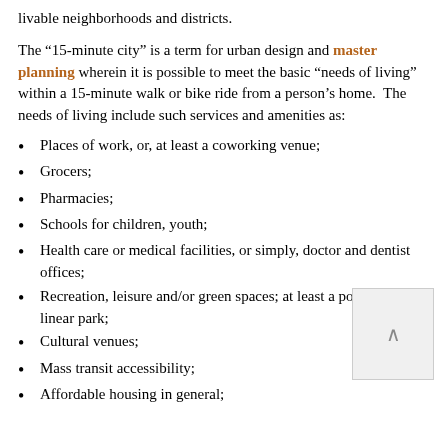livable neighborhoods and districts.
The “15-minute city” is a term for urban design and master planning wherein it is possible to meet the basic “needs of living” within a 15-minute walk or bike ride from a person’s home.  The needs of living include such services and amenities as:
Places of work, or, at least a coworking venue;
Grocers;
Pharmacies;
Schools for children, youth;
Health care or medical facilities, or simply, doctor and dentist offices;
Recreation, leisure and/or green spaces; at least a pocket or linear park;
Cultural venues;
Mass transit accessibility;
Affordable housing in general;